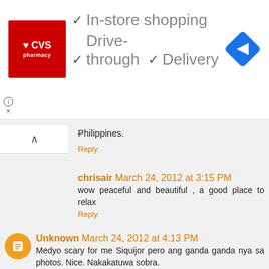[Figure (screenshot): CVS Pharmacy advertisement banner showing in-store shopping, drive-through and delivery options with a navigation arrow icon]
Philippines.
Reply
chrisair  March 24, 2012 at 3:15 PM
wow peaceful and beautiful , a good place to relax
Reply
Unknown  March 24, 2012 at 4:13 PM
Medyo scary for me Siquijor pero ang ganda ganda nya sa photos. Nice. Nakakatuwa sobra.
Reply